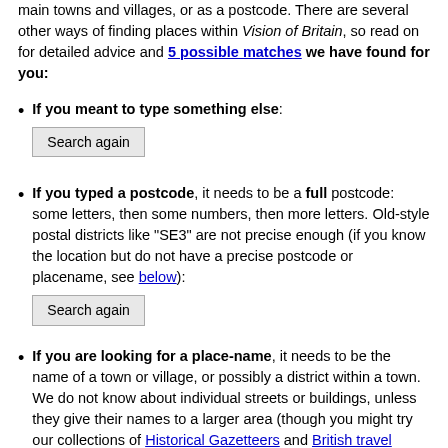main towns and villages, or as a postcode. There are several other ways of finding places within Vision of Britain, so read on for detailed advice and 5 possible matches we have found for you:
If you meant to type something else: [Search again button]
If you typed a postcode, it needs to be a full postcode: some letters, then some numbers, then more letters. Old-style postal districts like "SE3" are not precise enough (if you know the location but do not have a precise postcode or placename, see below): [Search again button]
If you are looking for a place-name, it needs to be the name of a town or village, or possibly a district within a town. We do not know about individual streets or buildings, unless they give their names to a larger area (though you might try our collections of Historical Gazetteers and British travel writing). Do not include the name of a county, region or nation with the place-name: if we know of more than one